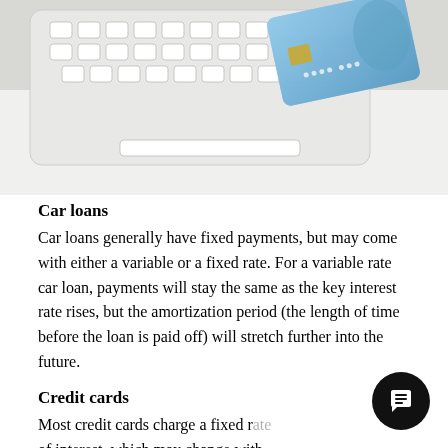[Figure (photo): Photo of a white computer keyboard with a blue credit card leaning against it on a white surface.]
Car loans
Car loans generally have fixed payments, but may come with either a variable or a fixed rate. For a variable rate car loan, payments will stay the same as the key interest rate rises, but the amortization period (the length of time before the loan is paid off) will stretch further into the future.
Credit cards
Most credit cards charge a fixed rate of interest, which may change with